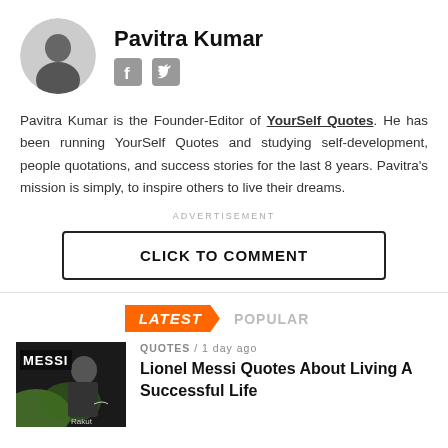[Figure (photo): Black and white circular avatar photo of Pavitra Kumar, a man in dark clothing against a blurred outdoor background]
Pavitra Kumar
[Figure (infographic): Facebook and Twitter social media icons in grey square rounded boxes]
Pavitra Kumar is the Founder-Editor of YourSelf Quotes. He has been running YourSelf Quotes and studying self-development, people quotations, and success stories for the last 8 years. Pavitra's mission is simply, to inspire others to live their dreams.
ADVERTISEMENT
CLICK TO COMMENT
LATEST   POPULAR
[Figure (photo): Thumbnail image of Lionel Messi in football kit with MESSI text overlay and Rakuten sponsor logo]
QUOTES / 1 day ago
Lionel Messi Quotes About Living A Successful Life